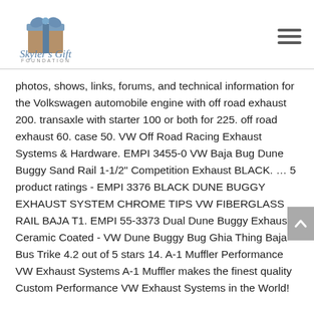Skyler's Gift Foundation
photos, shows, links, forums, and technical information for the Volkswagen automobile engine with off road exhaust 200. transaxle with starter 100 or both for 225. off road exhaust 60. case 50. VW Off Road Racing Exhaust Systems & Hardware. EMPI 3455-0 VW Baja Bug Dune Buggy Sand Rail 1-1/2″ Competition Exhaust BLACK. … 5 product ratings - EMPI 3376 BLACK DUNE BUGGY EXHAUST SYSTEM CHROME TIPS VW FIBERGLASS RAIL BAJA T1. EMPI 55-3373 Dual Dune Buggy Exhaust Ceramic Coated - VW Dune Buggy Bug Ghia Thing Baja Bus Trike 4.2 out of 5 stars 14. A-1 Muffler Performance VW Exhaust Systems A-1 Muffler makes the finest quality Custom Performance VW Exhaust Systems in the World!